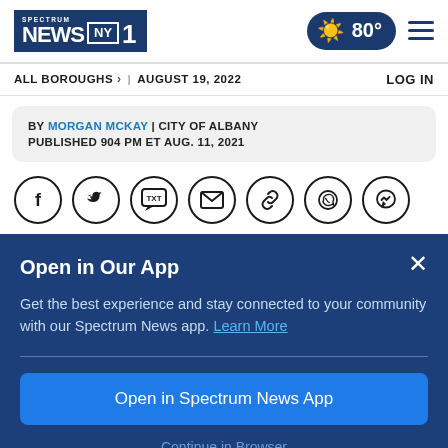Spectrum News NY1 | 80° | ALL BOROUGHS > | AUGUST 19, 2022 | LOG IN
BY MORGAN MCKAY | CITY OF ALBANY
PUBLISHED 904 PM ET AUG. 11, 2021
[Figure (infographic): Social share icons: Facebook, Twitter, TXT/SMS, Email, Link, WhatsApp, Messenger]
Open in Our App
Get the best experience and stay connected to your community with our Spectrum News app. Learn More
Open in Spectrum News App
Continue in Browser